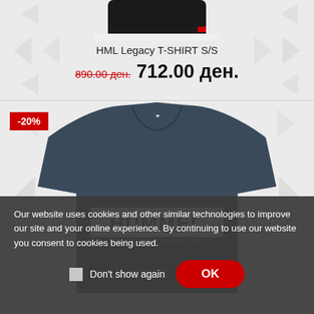[Figure (photo): Partial top view of a dark/black Hummel T-shirt product image cropped at top]
HML Legacy T-SHIRT S/S
890.00 ден.  712.00 ден.
[Figure (photo): Dark navy blue Hummel long-sleeve sweatshirt with HUMMEL SPORTSWEAR SINCE 1923 text on chest, shown with -20% discount badge]
Our website uses cookies and other similar technologies to improve our site and your online experience. By continuing to use our website you consent to cookies being used.
Don't show again
OK